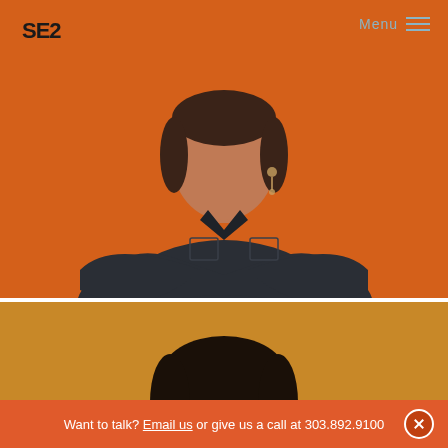SE2
[Figure (photo): Professional headshot of Lauren Schott, a woman in a dark button-up shirt with arms crossed, photographed against a bright orange background]
Lauren Schott
SENIOR ASSOCIATE
[Figure (photo): Partial headshot of a smiling woman with dark hair against a warm golden-orange background]
Want to talk? Email us or give us a call at 303.892.9100